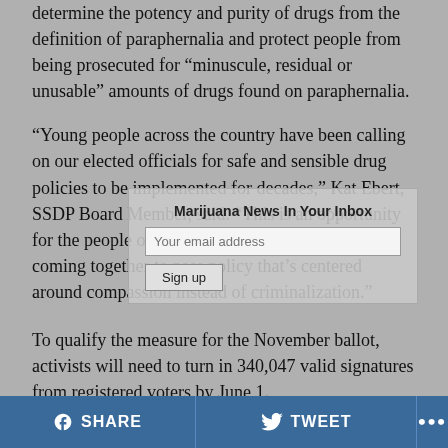determine the potency and purity of drugs from the definition of paraphernalia and protect people from being prosecuted for “minuscule, residual or unusable” amounts of drugs found on paraphernalia.
“Young people across the country have been calling on our elected officials for safe and sensible drug policies to be implemented for decades,” Kat Ebert, SSDP Board Member, said. “This is an opportunity for the people of Michigan to make history by coming together to pass policy that’s centered around compassion instead of criminalization.”
[Figure (screenshot): Email newsletter signup overlay with title 'Marijuana News In Your Inbox', an email address input field, and a 'Sign up' button]
To qualify the measure for the November ballot, activists will need to turn in 340,047 valid signatures from registered voters by June 1.
SHARE   TWEET   ...